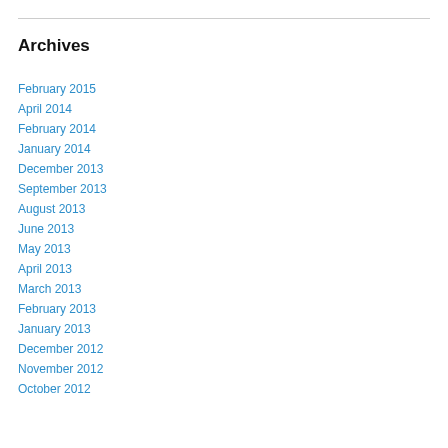Archives
February 2015
April 2014
February 2014
January 2014
December 2013
September 2013
August 2013
June 2013
May 2013
April 2013
March 2013
February 2013
January 2013
December 2012
November 2012
October 2012